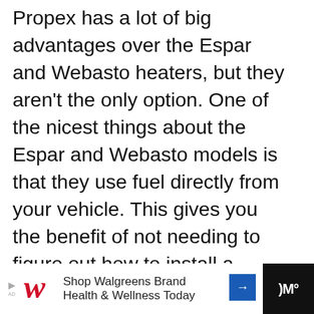Propex has a lot of big advantages over the Espar and Webasto heaters, but they aren't the only option. One of the nicest things about the Espar and Webasto models is that they use fuel directly from your vehicle. This gives you the benefit of not needing to figure out how to install a separate tank, plus they're easier to refill.
[Figure (other): Red circular heart/favorite button icon]
[Figure (other): White circular share button icon with share symbol]
[Figure (other): What's Next widget with thumbnail image and text 'How To Heat Your...']
[Figure (other): Advertisement banner: Shop Walgreens Brand Health & Wellness Today, with Walgreens W logo and navigation arrow]